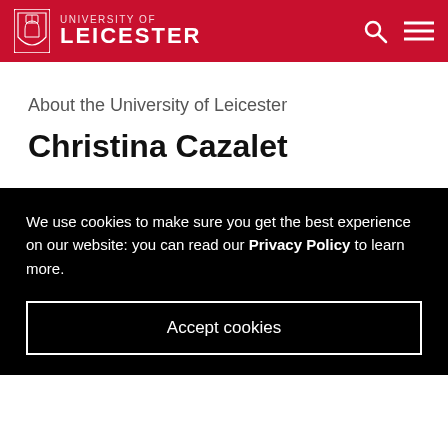University of Leicester
About the University of Leicester
Christina Cazalet
We use cookies to make sure you get the best experience on our website: you can read our Privacy Policy to learn more.
Accept cookies